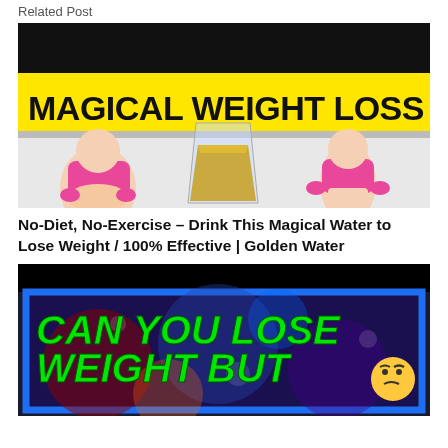Related Post
[Figure (illustration): Thumbnail image with yellow background showing 'MAGICAL WEIGHT LOSS WATER' text in large bold black letters, with cartoon illustrations of a woman pinching belly fat on the left, a glass of golden/yellow liquid in the center, and a slimmer woman on the right.]
No-Diet, No-Exercise – Drink This Magical Water to Lose Weight / 100% Effective | Golden Water
[Figure (illustration): Thumbnail image with dark background and blue border showing bold green italic text 'CAN YOU LOSE WEIGHT BUT' and partially visible text below, with a thinking face emoji on the right side and colorful bokeh light effects in the background.]